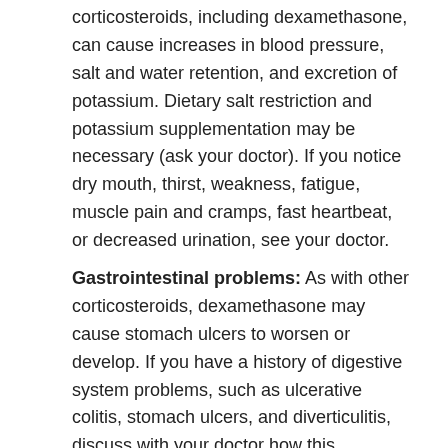corticosteroids, including dexamethasone, can cause increases in blood pressure, salt and water retention, and excretion of potassium. Dietary salt restriction and potassium supplementation may be necessary (ask your doctor). If you notice dry mouth, thirst, weakness, fatigue, muscle pain and cramps, fast heartbeat, or decreased urination, see your doctor.
Gastrointestinal problems: As with other corticosteroids, dexamethasone may cause stomach ulcers to worsen or develop. If you have a history of digestive system problems, such as ulcerative colitis, stomach ulcers, and diverticulitis, discuss with your doctor how this medication may affect your medical condition, how your medical condition may affect the dosing and effectiveness of this medication, and whether any special monitoring is needed.
Infection: Dexamethasone can reduce your body's ability to fight infections and may hide signs of infection that is developing. This medication may also worsen internal fungal